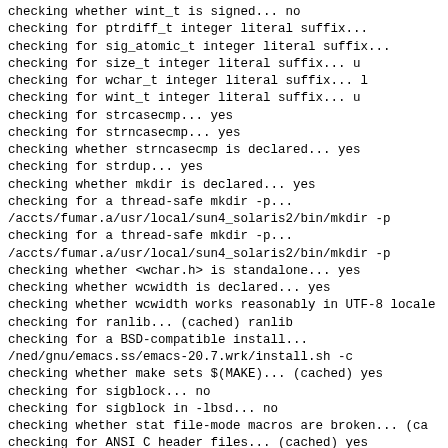checking whether wint_t is signed... no
checking for ptrdiff_t integer literal suffix...
checking for sig_atomic_t integer literal suffix...
checking for size_t integer literal suffix... u
checking for wchar_t integer literal suffix... l
checking for wint_t integer literal suffix... u
checking for strcasecmp... yes
checking for strncasecmp... yes
checking whether strncasecmp is declared... yes
checking for strdup... yes
checking whether mkdir is declared... yes
checking for a thread-safe mkdir -p...
/accts/fumar.a/usr/local/sun4_solaris2/bin/mkdir -p
checking for a thread-safe mkdir -p...
/accts/fumar.a/usr/local/sun4_solaris2/bin/mkdir -p
checking whether <wchar.h> is standalone... yes
checking whether wcwidth is declared... yes
checking whether wcwidth works reasonably in UTF-8 locale
checking for ranlib... (cached) ranlib
checking for a BSD-compatible install...
/ned/gnu/emacs.ss/emacs-20.7.wrk/install.sh -c
checking whether make sets $(MAKE)... (cached) yes
checking for sigblock... no
checking for sigblock in -lbsd... no
checking whether stat file-mode macros are broken... (ca
checking for ANSI C header files... (cached) yes
checking fcntl.h usability... yes
checking fcntl.h presence... yes
checking for fcntl.h... yes
checking io.h usability... no
checking io.h presence... no